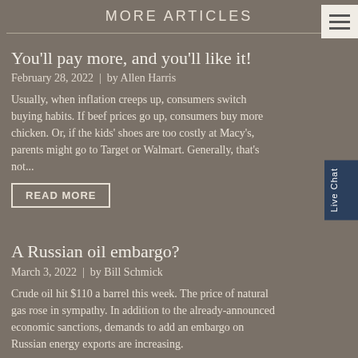MORE ARTICLES
You'll pay more, and you'll like it!
February 28, 2022  |  by Allen Harris
Usually, when inflation creeps up, consumers switch buying habits. If beef prices go up, consumers buy more chicken. Or, if the kids' shoes are too costly at Macy's, parents might go to Target or Walmart. Generally, that's not...
READ MORE
A Russian oil embargo?
March 3, 2022  |  by Bill Schmick
Crude oil hit $110 a barrel this week. The price of natural gas rose in sympathy. In addition to the already-announced economic sanctions, demands to add an embargo on Russian energy exports are increasing.